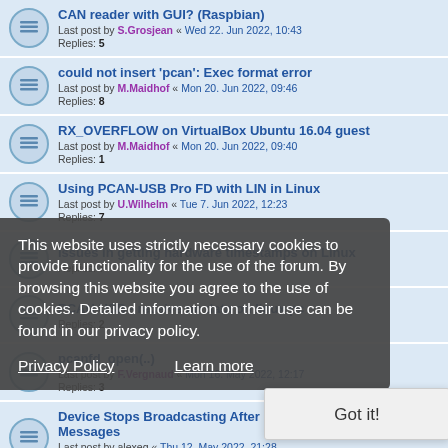CAN reader with GUI? (Raspbian)
Last post by S.Grosjean « Wed 22. Jun 2022, 10:43
Replies: 5
could not insert 'pcan': Exec format error
Last post by M.Maidhof « Mon 20. Jun 2022, 09:46
Replies: 8
RX_OVERFLOW on VirtualBox Ubuntu 16.04 guest
Last post by M.Maidhof « Mon 20. Jun 2022, 09:40
Replies: 1
Using PCAN-USB Pro FD with LIN in Linux
Last post by U.Wilhelm « Tue 7. Jun 2022, 12:23
Replies: 7
issues in getting hardware timestamps on Linux
Replies: 7
PCAN USB - receive no data on linux pc
Replies: 2
pcanfd_open(..)
Last post by F.Vergnaud « Mon 16. May 2022, 12:17
Replies: 3
Device Stops Broadcasting After Certain Number of Messages
Last post by alexeg « Thu 12. May 2022, 21:28
Replies: 2
PEAK Usb not detected on Ubuntu 18.04LTS
Last post by ginson « Tue 10. May 2022, 09:00
Replies: 4
This website uses strictly necessary cookies to provide functionality for the use of the forum. By browsing this website you agree to the use of cookies. Detailed information on their use can be found in our privacy policy.
Privacy Policy    Learn more
Got it!